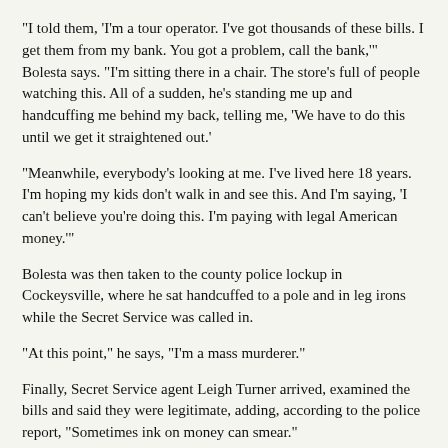"I told them, 'I'm a tour operator. I've got thousands of these bills. I get them from my bank. You got a problem, call the bank,'" Bolesta says. "I'm sitting there in a chair. The store's full of people watching this. All of a sudden, he's standing me up and handcuffing me behind my back, telling me, 'We have to do this until we get it straightened out.'
"Meanwhile, everybody's looking at me. I've lived here 18 years. I'm hoping my kids don't walk in and see this. And I'm saying, 'I can't believe you're doing this. I'm paying with legal American money.'"
Bolesta was then taken to the county police lockup in Cockeysville, where he sat handcuffed to a pole and in leg irons while the Secret Service was called in.
"At this point," he says, "I'm a mass murderer."
Finally, Secret Service agent Leigh Turner arrived, examined the bills and said they were legitimate, adding, according to the police report, "Sometimes ink on money can smear."
This will be important news to all concerned.